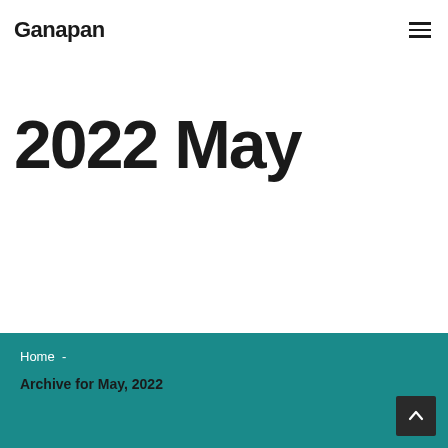Ganapan
2022 May
Home  -
Archive for May, 2022